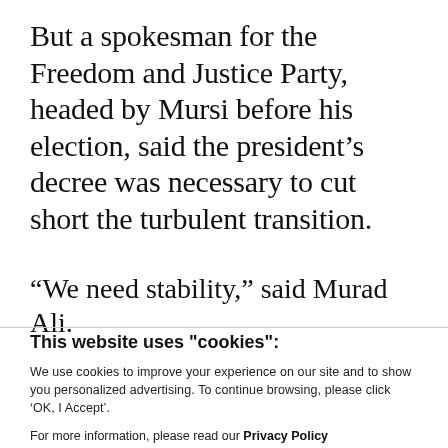But a spokesman for the Freedom and Justice Party, headed by Mursi before his election, said the president’s decree was necessary to cut short the turbulent transition.
“We need stability,” said Murad Ali.
This website uses "cookies":
We use cookies to improve your experience on our site and to show you personalized advertising. To continue browsing, please click ‘OK, I Accept’.
For more information, please read our Privacy Policy
Ok, I Accept